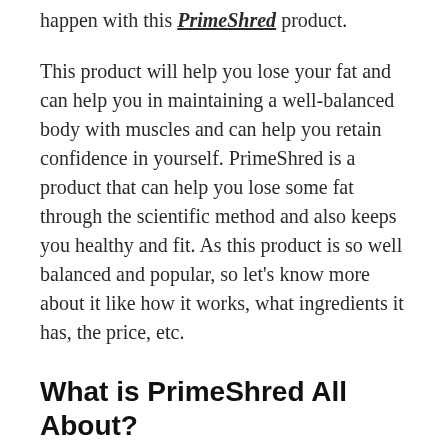happen with this PrimeShred product.
This product will help you lose your fat and can help you in maintaining a well-balanced body with muscles and can help you retain confidence in yourself. PrimeShred is a product that can help you lose some fat through the scientific method and also keeps you healthy and fit. As this product is so well balanced and popular, so let's know more about it like how it works, what ingredients it has, the price, etc.
What is PrimeShred All About?
PrimeShred is a scientifically formulated fat burner product that helps a man to lose weight and cut down the fat in a reasonable time. It got a specially formulated ingredient